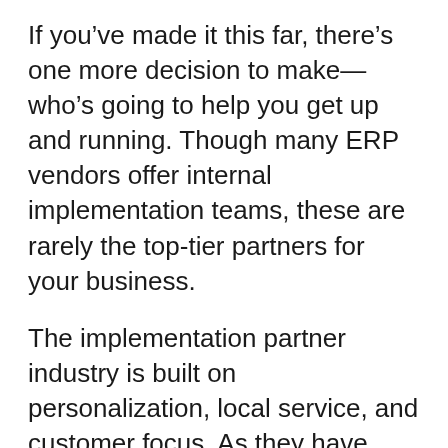If you've made it this far, there's one more decision to make—who's going to help you get up and running. Though many ERP vendors offer internal implementation teams, these are rarely the top-tier partners for your business.
The implementation partner industry is built on personalization, local service, and customer focus. As they have dedicated teams to implement and support customers, these partners often make it easier to implement, configure, and tailor your solution than the internal vendor resources. For example, companies like Acumatica rely